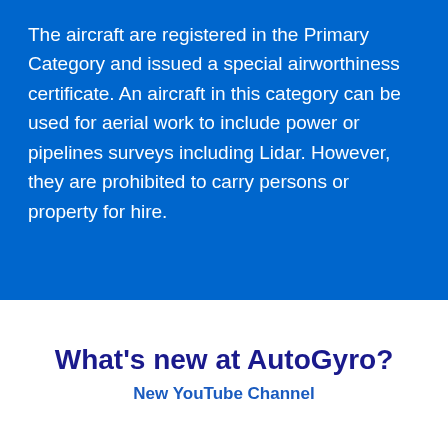The aircraft are registered in the Primary Category and issued a special airworthiness certificate. An aircraft in this category can be used for aerial work to include power or pipelines surveys including Lidar. However, they are prohibited to carry persons or property for hire.
What's new at AutoGyro?
New YouTube Channel